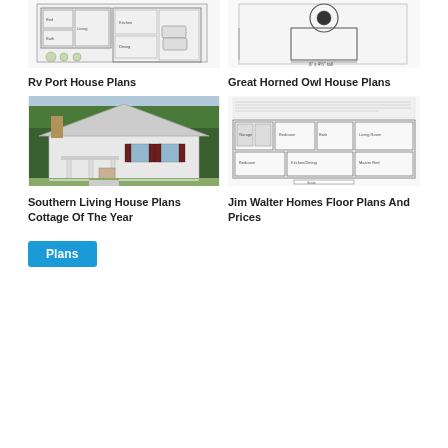[Figure (schematic): Top-left: Floor plan schematic of RV Port House with rooms and carport area, black and white architectural drawing]
[Figure (schematic): Top-right: Great Horned Owl House Plans schematic, technical diagram with measurements]
Rv Port House Plans
Great Horned Owl House Plans
[Figure (photo): Bottom-left: Southern Living House Plans Cottage Of The Year — photo of white cottage-style house with front porch and trees]
[Figure (schematic): Bottom-right: Jim Walter Homes Floor Plans And Prices — floor plan schematic with text description at top]
Southern Living House Plans Cottage Of The Year
Jim Walter Homes Floor Plans And Prices
Plans